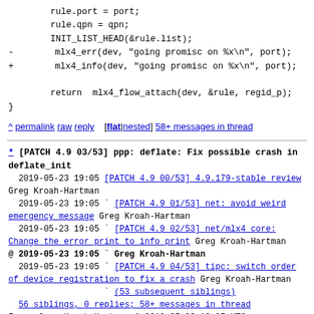rule.port = port;
        rule.qpn = qpn;
        INIT_LIST_HEAD(&rule.list);
-       mlx4_err(dev, "going promisc on %x\n", port);
+       mlx4_info(dev, "going promisc on %x\n", port);

        return  mlx4_flow_attach(dev, &rule, regid_p);
}
^ permalink raw reply [flat|nested] 58+ messages in thread
* [PATCH 4.9 03/53] ppp: deflate: Fix possible crash in deflate_init
  2019-05-23 19:05 [PATCH 4.9 00/53] 4.9.179-stable review Greg Kroah-Hartman
  2019-05-23 19:05 ` [PATCH 4.9 01/53] net: avoid weird emergency message Greg Kroah-Hartman
  2019-05-23 19:05 ` [PATCH 4.9 02/53] net/mlx4 core: Change the error print to info print Greg Kroah-Hartman
@ 2019-05-23 19:05 ` Greg Kroah-Hartman
  2019-05-23 19:05 ` [PATCH 4.9 04/53] tipc: switch order of device registration to fix a crash Greg Kroah-Hartman
                   ` (53 subsequent siblings)
  56 siblings, 0 replies; 58+ messages in thread
From: Greg Kroah-Hartman @ 2019-05-23 19:05 UTC